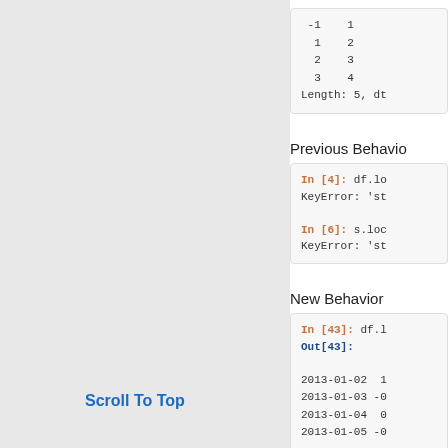-1    1
 1    2
 2    3
 3    4
Length: 5, dt
Previous Behavio
In [4]: df.lo
KeyError: 'st

In [6]: s.loc
KeyError: 'st
New Behavior
In [43]: df.l
Out[43]:

2013-01-02  1
2013-01-03 -0
2013-01-04  0
2013-01-05 -0
Scroll To Top